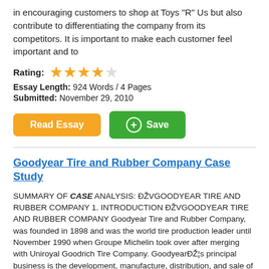in encouraging customers to shop at Toys "R" Us but also contribute to differentiating the company from its competitors. It is important to make each customer feel important and to
Rating: ★★★★☆
Essay Length: 924 Words / 4 Pages
Submitted: November 29, 2010
Read Essay  Save
Goodyear Tire and Rubber Company Case Study
SUMMARY OF CASE ANALYSIS: ĐŽVGOODYEAR TIRE AND RUBBER COMPANY 1. INTRODUCTION ĐŽVGOODYEAR TIRE AND RUBBER COMPANY Goodyear Tire and Rubber Company, was founded in 1898 and was the world tire production leader until November 1990 when Groupe Michelin took over after merging with Uniroyal Goodrich Tire Company. GoodyearĐŽ¦s principal business is the development, manufacture, distribution, and sale of tire